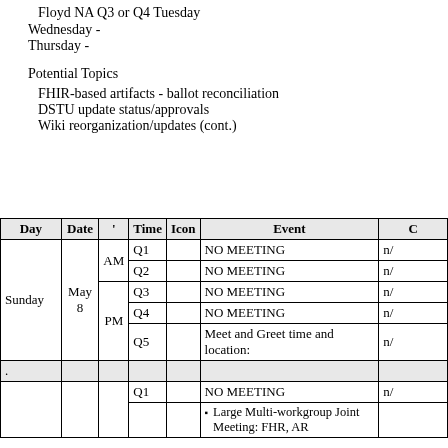Floyd NA Q3 or Q4 Tuesday
Wednesday -
Thursday -
Potential Topics
FHIR-based artifacts - ballot reconciliation
DSTU update status/approvals
Wiki reorganization/updates (cont.)
| Day | Date | ' | Time | Icon | Event | C |
| --- | --- | --- | --- | --- | --- | --- |
| Sunday | May 8 | AM | Q1 |  | NO MEETING | n/ |
|  |  | AM | Q2 |  | NO MEETING | n/ |
|  |  | PM | Q3 |  | NO MEETING | n/ |
|  |  | PM | Q4 |  | NO MEETING | n/ |
|  |  | PM | Q5 |  | Meet and Greet time and location: | n/ |
| . |  |  |  |  |  |  |
|  |  |  | Q1 |  | NO MEETING | n/ |
|  |  |  |  |  | • Large Multi-workgroup Joint Meeting: FHR, AR... |  |